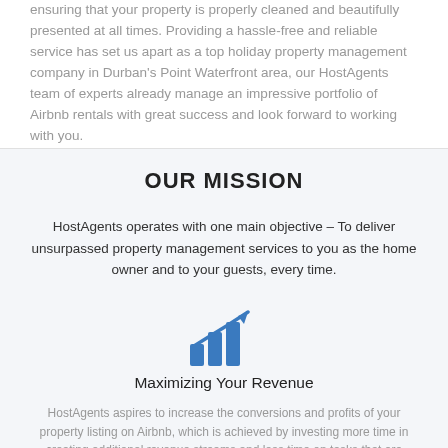ensuring that your property is properly cleaned and beautifully presented at all times. Providing a hassle-free and reliable service has set us apart as a top holiday property management company in Durban's Point Waterfront area, our HostAgents team of experts already manage an impressive portfolio of Airbnb rentals with great success and look forward to working with you.
OUR MISSION
HostAgents operates with one main objective – To deliver unsurpassed property management services to you as the home owner and to your guests, every time.
[Figure (illustration): Blue icon of a bar chart with an upward trending arrow, representing revenue growth]
Maximizing Your Revenue
HostAgents aspires to increase the conversions and profits of your property listing on Airbnb, which is achieved by investing more time in creating additional revenue streams and less time on tasks that are tedious and not necessary.